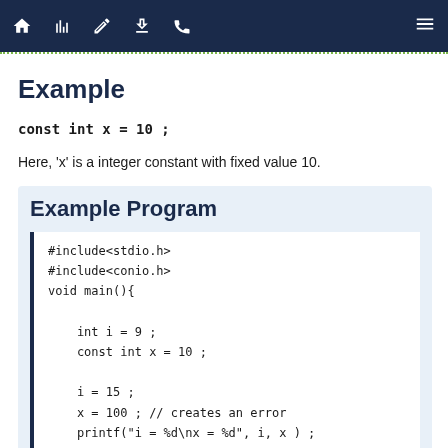Navigation bar with home, chart, edit, download, phone icons and menu icon
Example
const int x = 10 ;
Here, 'x' is a integer constant with fixed value 10.
Example Program
#include<stdio.h>
#include<conio.h>
void main(){

    int i = 9 ;
    const int x = 10 ;

    i = 15 ;
    x = 100 ; // creates an error
    printf("i = %d\nx = %d", i, x ) ;